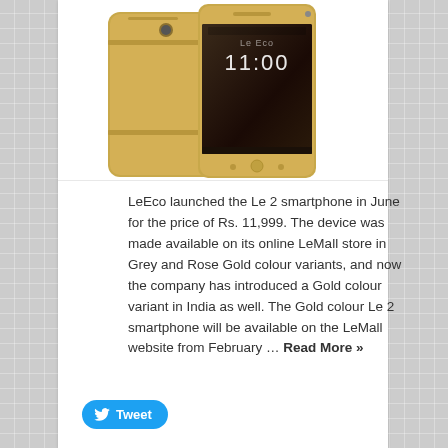[Figure (photo): Two LeEco Le 2 smartphones in gold color shown from front and back, displayed in partial crop at top of card]
LeEco launched the Le 2 smartphone in June for the price of Rs. 11,999. The device was made available on its online LeMall store in Grey and Rose Gold colour variants, and now the company has introduced a Gold colour variant in India as well. The Gold colour Le 2 smartphone will be available on the LeMall website from February … Read More »